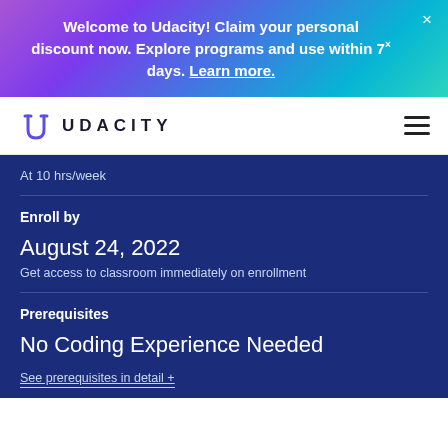Welcome to Udacity! Claim your personal discount now. Explore programs and use within 7 days. Learn more.
[Figure (logo): Udacity logo with stylized U icon and UDACITY wordmark]
At 10 hrs/week
Enroll by
August 24, 2022
Get access to classroom immediately on enrollment
Prerequisites
No Coding Experience Needed
See prerequisites in detail +